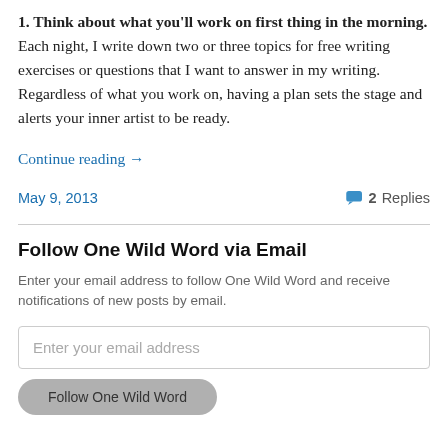1. Think about what you'll work on first thing in the morning. Each night, I write down two or three topics for free writing exercises or questions that I want to answer in my writing. Regardless of what you work on, having a plan sets the stage and alerts your inner artist to be ready.
Continue reading →
May 9, 2013
2 Replies
Follow One Wild Word via Email
Enter your email address to follow One Wild Word and receive notifications of new posts by email.